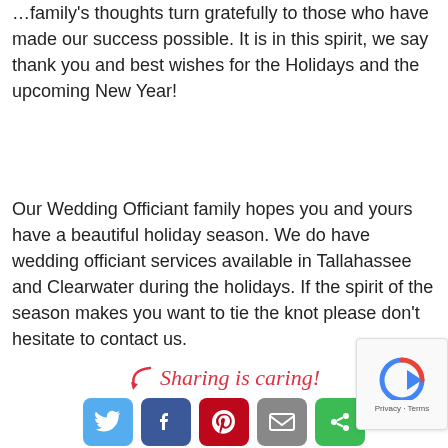During the holiday season, our Wedding Officiant family's thoughts turn gratefully to those who have made our success possible. It is in this spirit, we say thank you and best wishes for the Holidays and the upcoming New Year!
Our Wedding Officiant family hopes you and yours have a beautiful holiday season. We do have wedding officiant services available in Tallahassee and Clearwater during the holidays. If the spirit of the season makes you want to tie the knot please don't hesitate to contact us.
[Figure (infographic): Sharing is caring! text with red curl arrow and social media icon buttons (Twitter, Facebook, Pinterest, Email, Other/Green) at bottom of page, plus reCAPTCHA widget in bottom right corner]